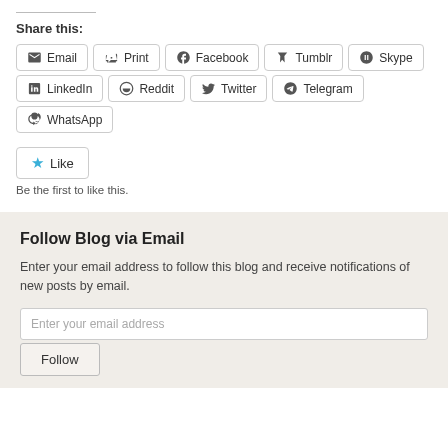Share this:
[Figure (infographic): Social sharing buttons: Email, Print, Facebook, Tumblr, Skype, LinkedIn, Reddit, Twitter, Telegram, WhatsApp]
[Figure (infographic): Like button with blue star icon]
Be the first to like this.
Follow Blog via Email
Enter your email address to follow this blog and receive notifications of new posts by email.
Enter your email address
Follow